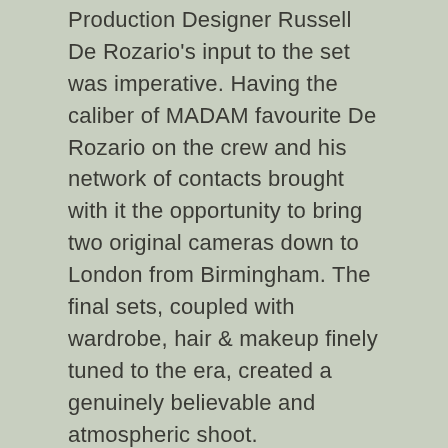Production Designer Russell De Rozario's input to the set was imperative. Having the caliber of MADAM favourite De Rozario on the crew and his network of contacts brought with it the opportunity to bring two original cameras down to London from Birmingham. The final sets, coupled with wardrobe, hair & makeup finely tuned to the era, created a genuinely believable and atmospheric shoot.